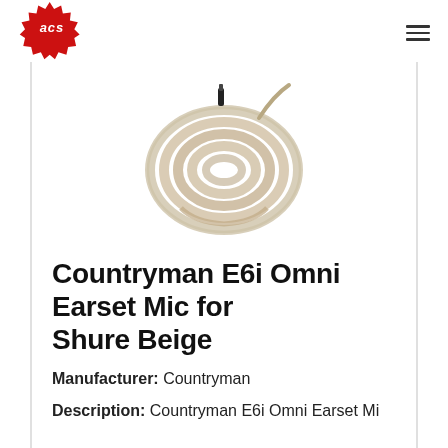ACS logo and navigation menu
[Figure (photo): Countryman E6i Omni Earset Microphone coiled cable in beige color on white background]
Countryman E6i Omni Earset Mic for Shure Beige
Manufacturer: Countryman
Description: Countryman E6i Omni Earset Mi...